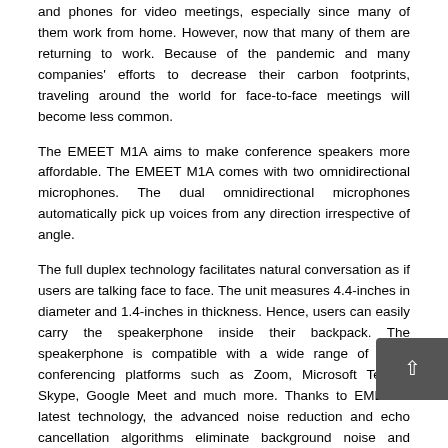and phones for video meetings, especially since many of them work from home. However, now that many of them are returning to work. Because of the pandemic and many companies' efforts to decrease their carbon footprints, traveling around the world for face-to-face meetings will become less common.
The EMEET M1A aims to make conference speakers more affordable. The EMEET M1A comes with two omnidirectional microphones. The dual omnidirectional microphones automatically pick up voices from any direction irrespective of angle.
The full duplex technology facilitates natural conversation as if users are talking face to face. The unit measures 4.4-inches in diameter and 1.4-inches in thickness. Hence, users can easily carry the speakerphone inside their backpack. The speakerphone is compatible with a wide range of video conferencing platforms such as Zoom, Microsoft Teams, Skype, Google Meet and much more. Thanks to EMEET's latest technology, the advanced noise reduction and echo cancellation algorithms eliminate background noise and enhance the voice clarity.
As part of the early bird offer, EMEETOfficeCore M1A is currently available for $55.99 for a limited time. Grab the speakerphone today itself to experience uninterrupted work amidst the pandemic.